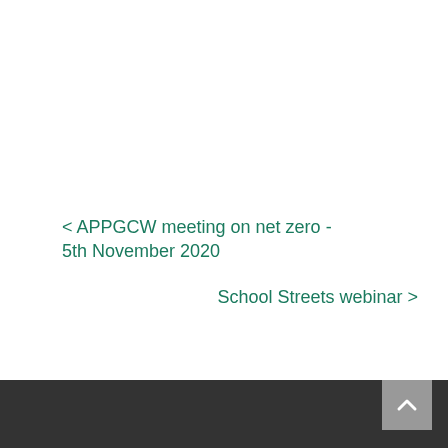< APPGCW meeting on net zero - 5th November 2020
School Streets webinar >